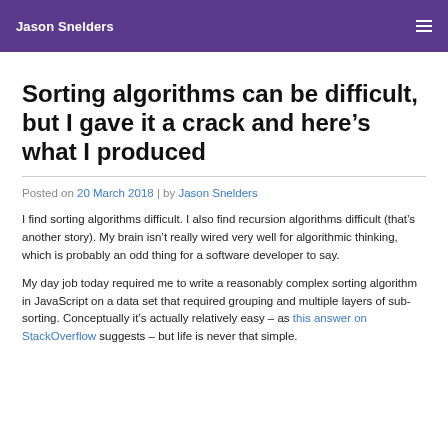Jason Snelders
Sorting algorithms can be difficult, but I gave it a crack and here’s what I produced
Posted on 20 March 2018 | by Jason Snelders
I find sorting algorithms difficult. I also find recursion algorithms difficult (that’s another story). My brain isn’t really wired very well for algorithmic thinking, which is probably an odd thing for a software developer to say.
My day job today required me to write a reasonably complex sorting algorithm in JavaScript on a data set that required grouping and multiple layers of sub-sorting. Conceptually it’s actually relatively easy – as this answer on StackOverflow suggests – but life is never that simple.